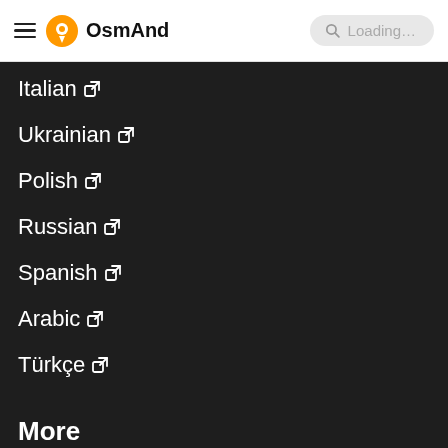OsmAnd
Italian
Ukrainian
Polish
Russian
Spanish
Arabic
Türkçe
More
Blog
Map
GitHub